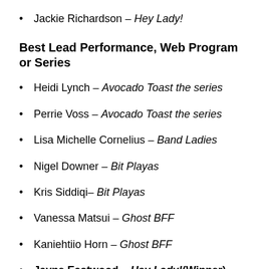Jackie Richardson – Hey Lady!
Best Lead Performance, Web Program or Series
Heidi Lynch – Avocado Toast the series
Perrie Voss – Avocado Toast the series
Lisa Michelle Cornelius – Band Ladies
Nigel Downer – Bit Playas
Kris Siddiqi– Bit Playas
Vanessa Matsui – Ghost BFF
Kaniehtiio Horn – Ghost BFF
Jayne Eastwood – Hey Lady! (Winner)